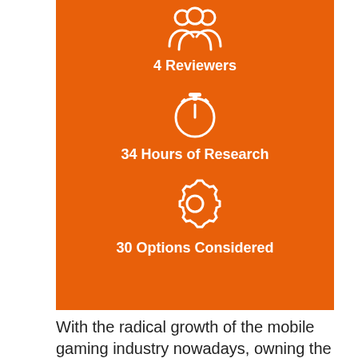[Figure (infographic): Orange infographic panel showing three stats: 4 Reviewers (person/group icon), 34 Hours of Research (stopwatch icon), 30 Options Considered (gear icon), each with white icon above bold white text.]
With the radical growth of the mobile gaming industry nowadays, owning the best gaming